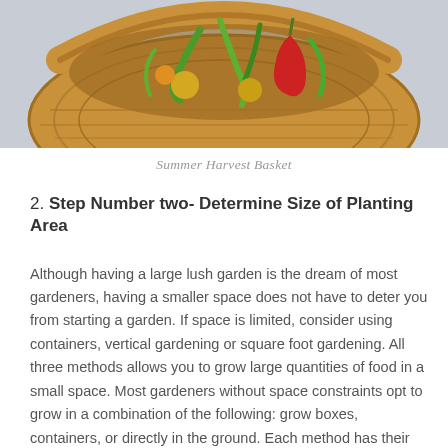[Figure (photo): Close-up photo of a woven basket filled with colorful summer vegetables including peppers, tomatoes, and green beans.]
Summer Harvest Basket
2. Step Number two- Determine Size of Planting Area
Although having a large lush garden is the dream of most gardeners, having a smaller space does not have to deter you from starting a garden. If space is limited, consider using containers, vertical gardening or square foot gardening. All three methods allows you to grow large quantities of food in a small space. Most gardeners without space constraints opt to grow in a combination of the following: grow boxes, containers, or directly in the ground. Each method has their own merit, review each method and choose what works best for your family, budget, time and health.